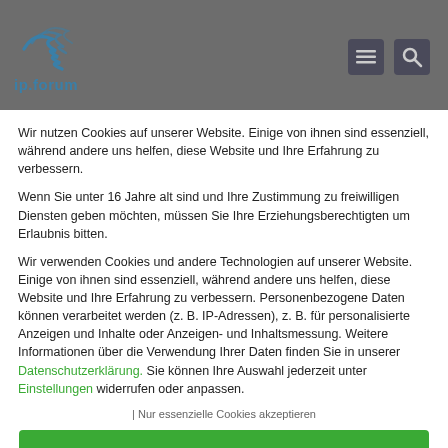[Figure (logo): ip.forum logo with bird/waves icon and text 'ip.forum' in blue]
Wir nutzen Cookies auf unserer Website. Einige von ihnen sind essenziell, während andere uns helfen, diese Website und Ihre Erfahrung zu verbessern.
Wenn Sie unter 16 Jahre alt sind und Ihre Zustimmung zu freiwilligen Diensten geben möchten, müssen Sie Ihre Erziehungsberechtigten um Erlaubnis bitten.
Wir verwenden Cookies und andere Technologien auf unserer Website. Einige von ihnen sind essenziell, während andere uns helfen, diese Website und Ihre Erfahrung zu verbessern. Personenbezogene Daten können verarbeitet werden (z. B. IP-Adressen), z. B. für personalisierte Anzeigen und Inhalte oder Anzeigen- und Inhaltsmessung. Weitere Informationen über die Verwendung Ihrer Daten finden Sie in unserer Datenschutzerklärung. Sie können Ihre Auswahl jederzeit unter Einstellungen widerrufen oder anpassen.
| Nur essenzielle Cookies akzeptieren
Ich akzeptiere
Individuelle Datenschutzeinstellungen